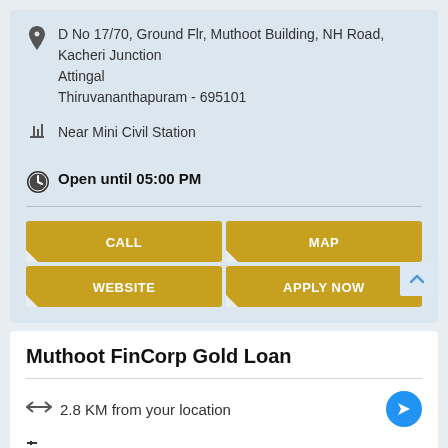D No 17/70, Ground Flr, Muthoot Building, NH Road, Kacheri Junction
Attingal
Thiruvananthapuram - 695101
Near Mini Civil Station
Open until 05:00 PM
CALL
MAP
WEBSITE
APPLY NOW
Muthoot FinCorp Gold Loan
2.8 KM from your location
Attingal